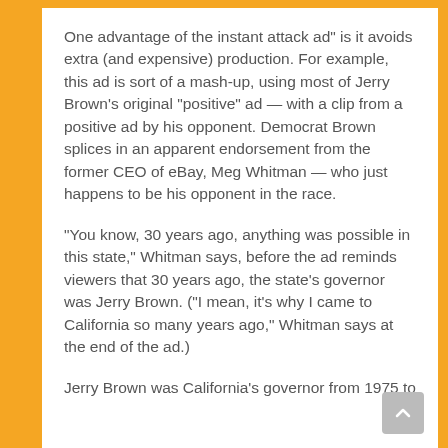One advantage of the instant attack ad" is it avoids extra (and expensive) production. For example, this ad is sort of a mash-up, using most of Jerry Brown's original "positive" ad — with a clip from a positive ad by his opponent. Democrat Brown splices in an apparent endorsement from the former CEO of eBay, Meg Whitman — who just happens to be his opponent in the race.
"You know, 30 years ago, anything was possible in this state," Whitman says, before the ad reminds viewers that 30 years ago, the state's governor was Jerry Brown. ("I mean, it's why I came to California so many years ago," Whitman says at the end of the ad.)
Jerry Brown was California's governor from 1975 to